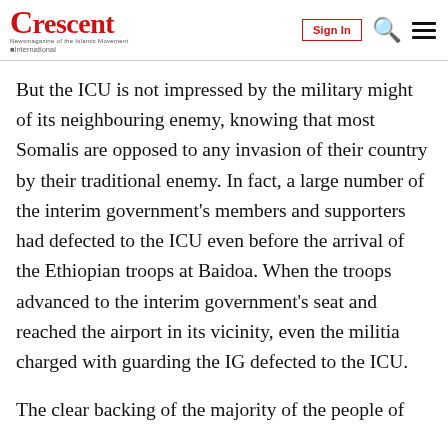Crescent International — Sign In
But the ICU is not impressed by the military might of its neighbouring enemy, knowing that most Somalis are opposed to any invasion of their country by their traditional enemy. In fact, a large number of the interim government's members and supporters had defected to the ICU even before the arrival of the Ethiopian troops at Baidoa. When the troops advanced to the interim government's seat and reached the airport in its vicinity, even the militia charged with guarding the IG defected to the ICU.
The clear backing of the majority of the people of